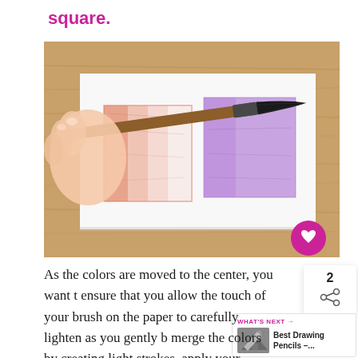square.
[Figure (photo): A hand holding a flat paintbrush over white paper on a wooden surface. On the paper are two watercolor swatches: a light salmon/orange rectangle on the left and a purple rectangle on the right, demonstrating blending technique.]
As the colors are moved to the center, you want t ensure that you allow the touch of your brush on the paper to carefully lighten as you gently b merge the colors by creating light strokes. apply your strokes in either a circular or side-to-side